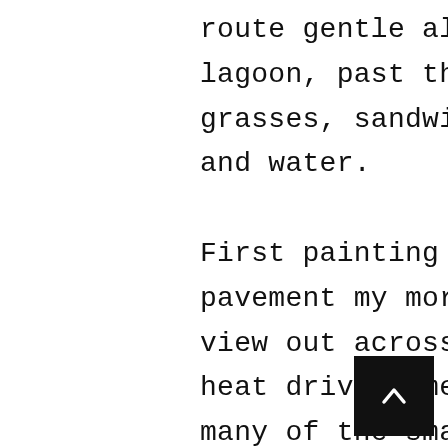route gentle along the edge of the lagoon, past the yacht club. Green grasses, sandwiched between blue skies and water. First painting in the studio. The pavement my morning spot, with its view out across the lagoon. Afternoon heat driving me inside. I'm doing as many of the small paintings I can manage in expectation of a high demand during the holiday period. The view across the lagoon reminds me of the Italian lakes, with the green forests and reflections of the building beyond the railway bridge. Kept the composition low to give room for the sky.